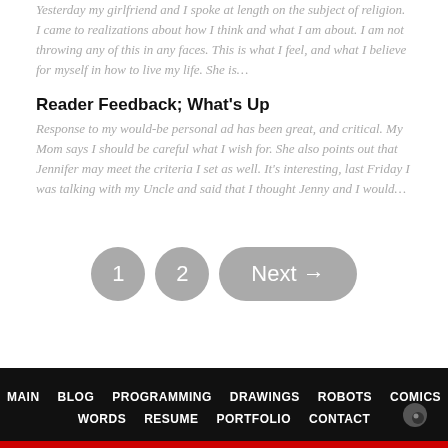Yesterday my girlfriend and I spoke at length on the subject of religion. I came to realizations about how I think and what I am about. I am not throwing any of this in any faces. This is what I feel, and what I believe for myself in how to live my life. She is…
Reader Feedback; What's Up
Response to my would-be personal ad has been great, and critical. My Mom says I should be careful what I wish for. She also points out that Jennifer may meet the criteria I set as well. It's interesting, last Friday I was talking with my Uncle and said that I thought Jenny and I would…
[Figure (other): Pagination controls with circular buttons labeled 1 and 2, and a rounded rectangle Next button with arrow]
MAIN  BLOG  PROGRAMMING  DRAWINGS  ROBOTS  COMICS  WORDS  RESUME  PORTFOLIO  CONTACT